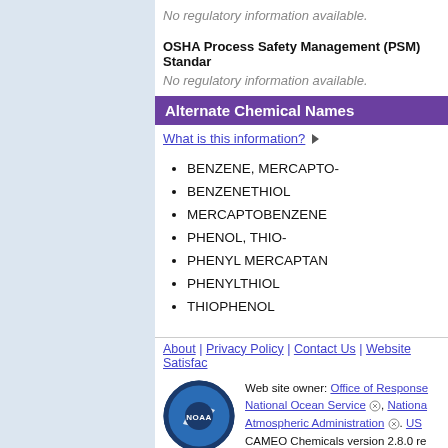No regulatory information available.
OSHA Process Safety Management (PSM) Standard
No regulatory information available.
Alternate Chemical Names
What is this information?
BENZENE, MERCAPTO-
BENZENETHIOL
MERCAPTOBENZENE
PHENOL, THIO-
PHENYL MERCAPTAN
PHENYLTHIOL
THIOPHENOL
About | Privacy Policy | Contact Us | Website Satisfac…
Web site owner: Office of Response… National Ocean Service, National… Atmospheric Administration. US…
CAMEO Chemicals version 2.8.0 re…